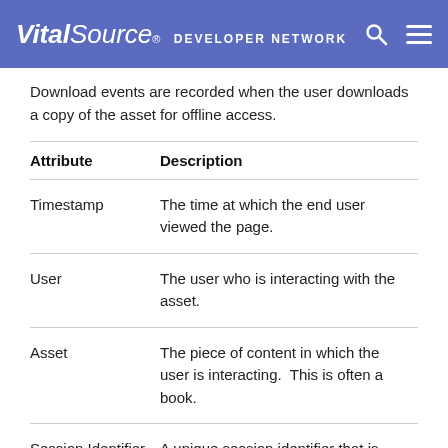VitalSource® DEVELOPER NETWORK
Download events are recorded when the user downloads a copy of the asset for offline access.
| Attribute | Description |
| --- | --- |
| Timestamp | The time at which the end user viewed the page. |
| User | The user who is interacting with the asset. |
| Asset | The piece of content in which the user is interacting.  This is often a book. |
| Session Identifier | A unique session identifier that is updated each time the user closes and opens the reading application. |